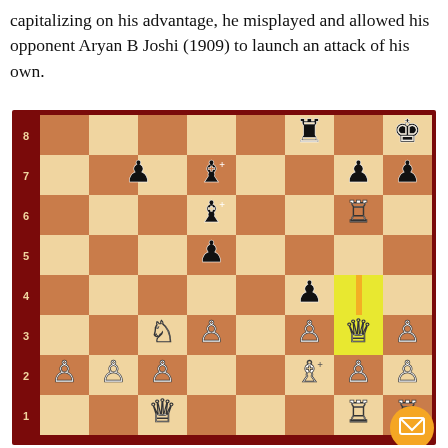capitalizing on his advantage, he misplayed and allowed his opponent Aryan B Joshi (1909) to launch an attack of his own.
[Figure (photo): Chess board position showing a mid-game chess position. Rank labels 1-8 on left. Board has dark red/brown border. Pieces shown: Black rook on f8, black king on h8, black bishop on c7, black bishop on d7 (with + mark), black pawns on g7 and h7, white rook on g6, black bishop on d6 (with + mark), black pawn on d5, black pawn on f4, white knight on c3, white bishop on d3, white pawn on f3, white queen on g3, white pawn on h3, white pawns on a2 b2 c2, white bishop on f2 (with + mark), white pawn on g2, white queen on c1, white rook on g1, white rook on h1. A yellow highlight marker on g3-g4 area indicating last move.]